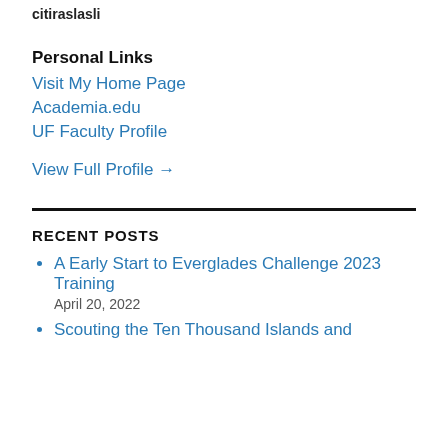citiraslasli
Personal Links
Visit My Home Page
Academia.edu
UF Faculty Profile
View Full Profile →
RECENT POSTS
A Early Start to Everglades Challenge 2023 Training
April 20, 2022
Scouting the Ten Thousand Islands and